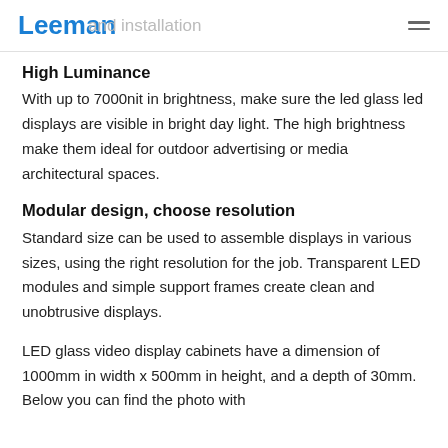Leeman  and installation
High Luminance
With up to 7000nit in brightness, make sure the led glass led displays are visible in bright day light. The high brightness make them ideal for outdoor advertising or media architectural spaces.
Modular design, choose resolution
Standard size can be used to assemble displays in various sizes, using the right resolution for the job. Transparent LED modules and simple support frames create clean and unobtrusive displays.
LED glass video display cabinets have a dimension of 1000mm in width x 500mm in height, and a depth of 30mm. Below you can find the photo with